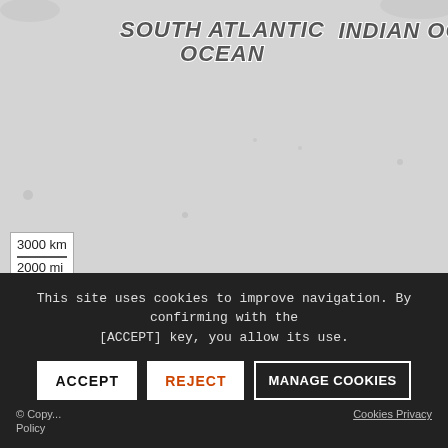[Figure (map): Partial world map showing South Atlantic Ocean and Indian Ocean labels, with a scale bar showing 3000 km / 2000 mi and Leaflet/OpenStreetMap attribution.]
Share this page
This site uses cookies to improve navigation. By confirming with the [ACCEPT] key, you allow its use.
ACCEPT | REJECT | MANAGE COOKIES